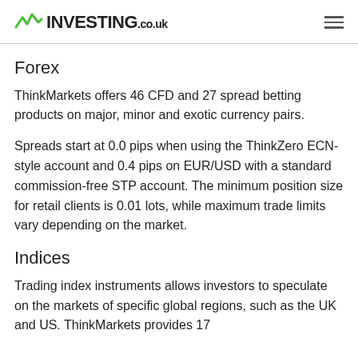INVESTING.co.uk
Forex
ThinkMarkets offers 46 CFD and 27 spread betting products on major, minor and exotic currency pairs.
Spreads start at 0.0 pips when using the ThinkZero ECN-style account and 0.4 pips on EUR/USD with a standard commission-free STP account. The minimum position size for retail clients is 0.01 lots, while maximum trade limits vary depending on the market.
Indices
Trading index instruments allows investors to speculate on the markets of specific global regions, such as the UK and US. ThinkMarkets provides 17